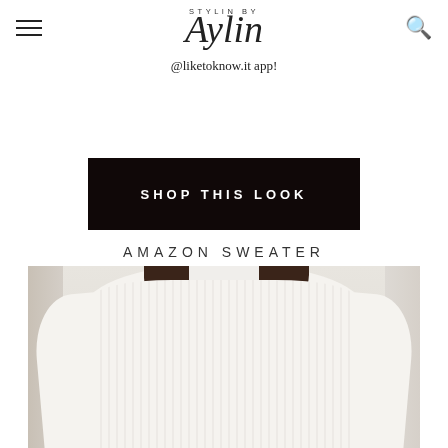STYLIN BY Aylin
shower, pool, to sleep... etc. As for organization I love using these stacking trays so each piece is visible, easy to grab, and will prevent tangling. Right now shop my entire jewelry collection @stylinbaylincollection on the @liketoknow.it app!
[Figure (screenshot): Black button with white bold uppercase text reading SHOP THIS LOOK in wide letter-spacing]
AMAZON SWEATER
[Figure (photo): A woman wearing a cream/white ribbed turtleneck oversized sweater, with dark brown shoulder-length hair, photographed from the shoulders up in a light neutral interior setting]